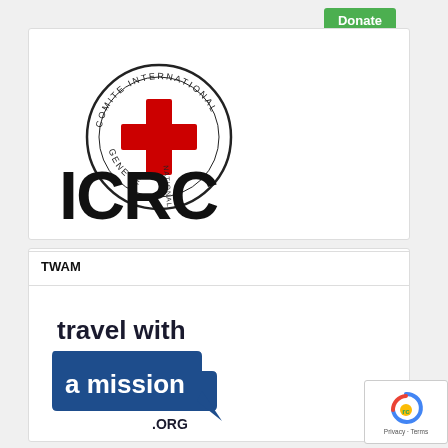[Figure (logo): Green Donate button]
[Figure (logo): ICRC logo: circular seal with red cross, text COMITE INTERNATIONAL GENEVE, and large ICRC text below]
TWAM
[Figure (logo): Travel with a Mission .org logo: 'travel with' in dark text above a blue speech-bubble shape containing 'a mission' in white, with '.ORG' below]
[Figure (logo): Google reCAPTCHA privacy badge with Privacy - Terms text]